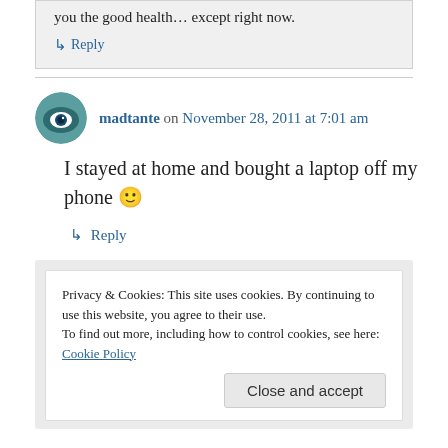you the good health… except right now.
↳ Reply
madtante on November 28, 2011 at 7:01 am
I stayed at home and bought a laptop off my phone 🙂
↳ Reply
Privacy & Cookies: This site uses cookies. By continuing to use this website, you agree to their use.
To find out more, including how to control cookies, see here: Cookie Policy